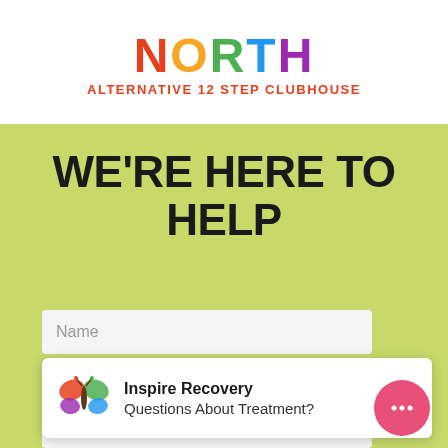[Figure (logo): North Alternative 12 Step Clubhouse logo with colorful letters spelling NORTH in red, orange, green, blue, purple, and subtitle ALTERNATIVE 12 STEP CLUBHOUSE in orange on white background]
WE'RE HERE TO HELP
Name
[Figure (infographic): Inspire Recovery popup widget with butterfly logo, title Inspire Recovery and text Questions About Treatment?]
How Can We Help?